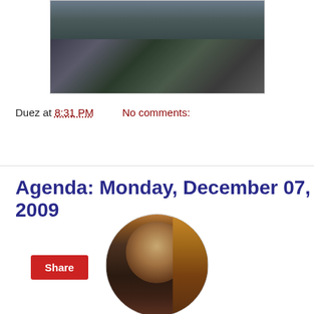[Figure (photo): Aerial or landscape photo showing rocky mountain terrain with dark rocky formations and greenery.]
Duez at 8:31 PM    No comments:
Share
Agenda: Monday, December 07, 2009
[Figure (photo): Circular image of a lion mascot or toy wearing a golden crown, with a stern expression, against a reddish background.]